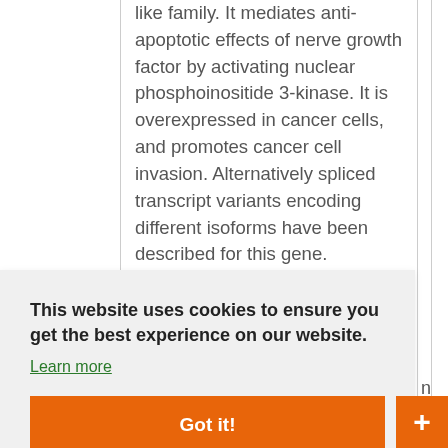like family. It mediates anti-apoptotic effects of nerve growth factor by activating nuclear phosphoinositide 3-kinase. It is overexpressed in cancer cells, and promotes cancer cell invasion. Alternatively spliced transcript variants encoding different isoforms have been described for this gene. [provided by RefSeq, Aug 2011]
This website uses cookies to ensure you get the best experience on our website.
Learn more
Got it!
n
TrueClone
Live Chat Online